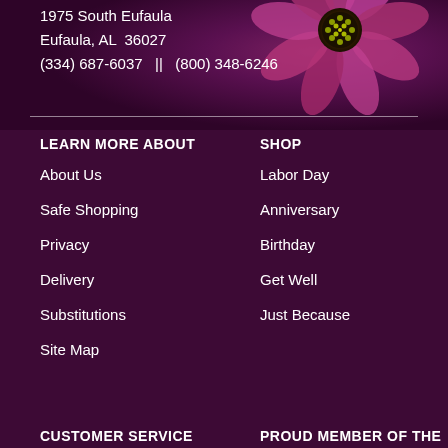1975 South Eufaula
Eufaula, AL  36027
(334) 687-6037   ||   (800) 348-6246
[Figure (photo): Purple/pink flower (cosmos or daisy) with yellow center on dark purple background, partially visible at top right]
LEARN MORE ABOUT
SHOP
About Us
Labor Day
Safe Shopping
Anniversary
Privacy
Birthday
Delivery
Get Well
Substitutions
Just Because
Site Map
CUSTOMER SERVICE
PROUD MEMBER OF THE